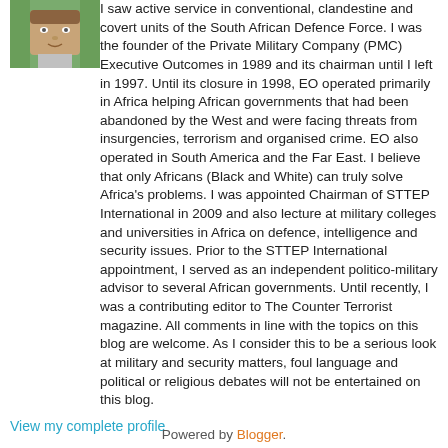[Figure (photo): Small portrait photo of a person, partially cropped, appearing in the top-left corner]
I saw active service in conventional, clandestine and covert units of the South African Defence Force. I was the founder of the Private Military Company (PMC) Executive Outcomes in 1989 and its chairman until I left in 1997. Until its closure in 1998, EO operated primarily in Africa helping African governments that had been abandoned by the West and were facing threats from insurgencies, terrorism and organised crime. EO also operated in South America and the Far East. I believe that only Africans (Black and White) can truly solve Africa's problems. I was appointed Chairman of STTEP International in 2009 and also lecture at military colleges and universities in Africa on defence, intelligence and security issues. Prior to the STTEP International appointment, I served as an independent politico-military advisor to several African governments. Until recently, I was a contributing editor to The Counter Terrorist magazine. All comments in line with the topics on this blog are welcome. As I consider this to be a serious look at military and security matters, foul language and political or religious debates will not be entertained on this blog.
View my complete profile
Powered by Blogger.